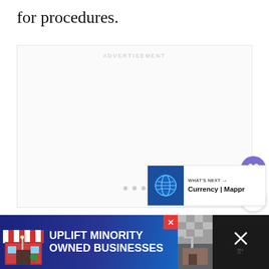for procedures.
[Figure (other): Advertisement placeholder box with label ADVERTISEMENT and three dots indicating a loading/carousel ad unit]
[Figure (other): Floating heart favorite button (purple circle with white heart icon) and share button (white circle with share icon)]
[Figure (other): WHAT'S NEXT widget showing Currency | Mappr with globe icon]
[Figure (other): Bottom advertisement banner: UPLIFT MINORITY OWNED BUSINESSES with store graphic on dark blue background, with close buttons]